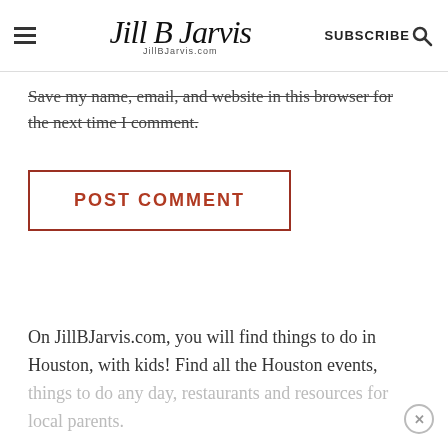Jill B Jarvis JillBJarvis.com SUBSCRIBE
Save my name, email, and website in this browser for the next time I comment.
POST COMMENT
On JillBJarvis.com, you will find things to do in Houston, with kids! Find all the Houston events, things to do any day, restaurants and resources for local parents.